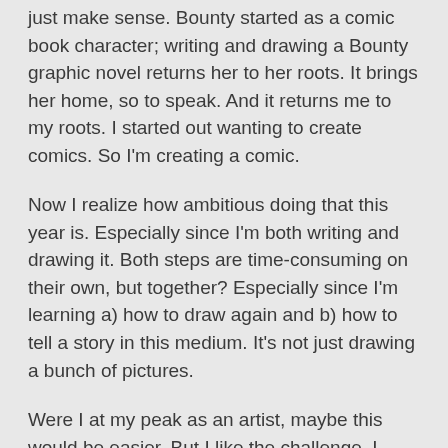just make sense. Bounty started as a comic book character; writing and drawing a Bounty graphic novel returns her to her roots. It brings her home, so to speak. And it returns me to my roots. I started out wanting to create comics. So I'm creating a comic.
Now I realize how ambitious doing that this year is. Especially since I'm both writing and drawing it. Both steps are time-consuming on their own, but together? Especially since I'm learning a) how to draw again and b) how to tell a story in this medium. It's not just drawing a bunch of pictures.
Were I at my peak as an artist, maybe this would be easier. But I like the challenge. I *need* the challenge. I haven't grown bored with writing novels — far from it — but adding this challenge has actually given me a boost